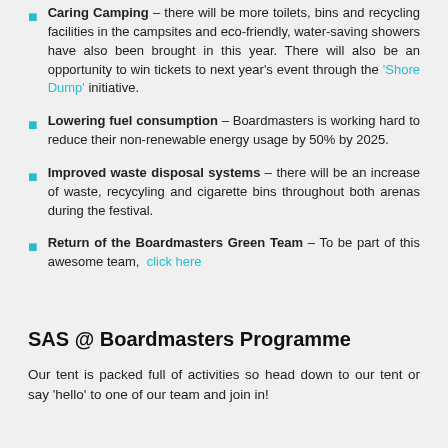Caring Camping – there will be more toilets, bins and recycling facilities in the campsites and eco-friendly, water-saving showers have also been brought in this year. There will also be an opportunity to win tickets to next year's event through the 'Shore Dump' initiative.
Lowering fuel consumption – Boardmasters is working hard to reduce their non-renewable energy usage by 50% by 2025.
Improved waste disposal systems – there will be an increase of waste, recycyling and cigarette bins throughout both arenas during the festival.
Return of the Boardmasters Green Team – To be part of this awesome team, click here
SAS @ Boardmasters Programme
Our tent is packed full of activities so head down to our tent or say 'hello' to one of our team and join in!